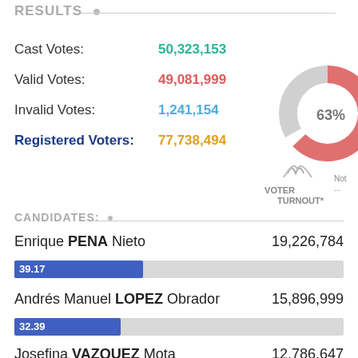RESULTS
Cast Votes: 50,323,153
Valid Votes: 49,081,999
Invalid Votes: 1,241,154
Registered Voters: 77,738,494
[Figure (donut-chart): VOTER TURNOUT*]
CANDIDATES:
Enrique PENA Nieto    19,226,784
[Figure (bar-chart): ]
Andrés Manuel LOPEZ Obrador    15,896,999
[Figure (bar-chart): ]
Josefina VAZQUEZ Mota    12,786,647